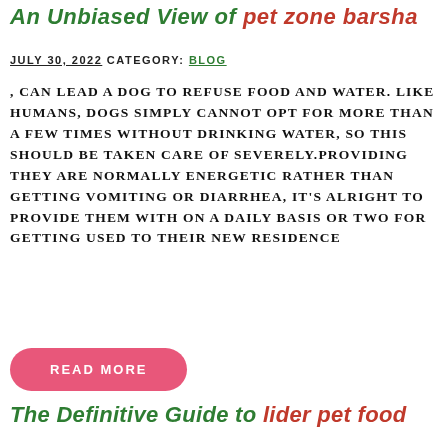An Unbiased View of pet zone barsha
JULY 30, 2022 CATEGORY: BLOG
, CAN LEAD A DOG TO REFUSE FOOD AND WATER. LIKE HUMANS, DOGS SIMPLY CANNOT OPT FOR MORE THAN A FEW TIMES WITHOUT DRINKING WATER, SO THIS SHOULD BE TAKEN CARE OF SEVERELY.PROVIDING THEY ARE NORMALLY ENERGETIC RATHER THAN GETTING VOMITING OR DIARRHEA, IT'S ALRIGHT TO PROVIDE THEM WITH ON A DAILY BASIS OR TWO FOR GETTING USED TO THEIR NEW RESIDENCE
READ MORE
The Definitive Guide to lider pet food